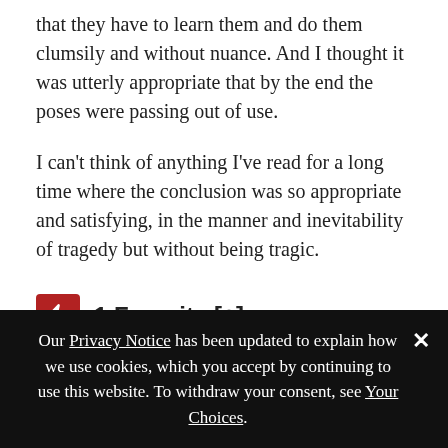that they have to learn them and do them clumsily and without nuance. And I thought it was utterly appropriate that by the end the poses were passing out of use.
I can't think of anything I've read for a long time where the conclusion was so appropriate and satisfying, in the manner and inevitability of tragedy but without being tragic.
1 Favorite [+]
[Figure (infographic): Social sharing buttons: Facebook, Twitter, Tumblr, Pinterest]
Our Privacy Notice has been updated to explain how we use cookies, which you accept by continuing to use this website. To withdraw your consent, see Your Choices.